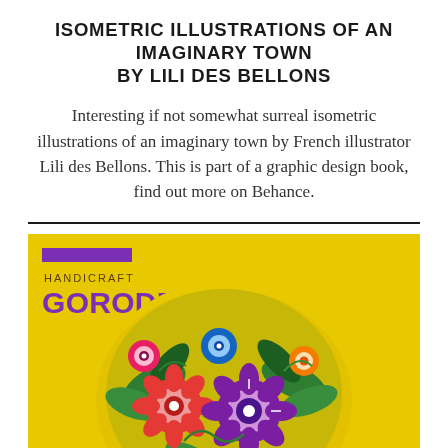ISOMETRIC ILLUSTRATIONS OF AN IMAGINARY TOWN BY LILI DES BELLONS
Interesting if not somewhat surreal isometric illustrations of an imaginary town by French illustrator Lili des Bellons. This is part of a graphic design book, find out more on Behance.
[Figure (photo): Yellow background image showing a decorated Gorodets folk art egg/object with colorful floral patterns in pink, red, blue, purple, and green. A purple bar accent and text labels 'HANDICRAFT' and 'GORODETS' appear in the upper left.]